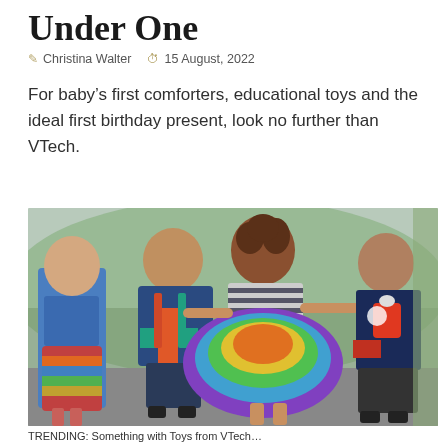Under One
Christina Walter   15 August, 2022
For baby’s first comforters, educational toys and the ideal first birthday present, look no further than VTech.
[Figure (photo): Four children playing outdoors; a girl in a colourful dress is spinning while the others watch and smile.]
TRENDING: Something with Toys from VTech...